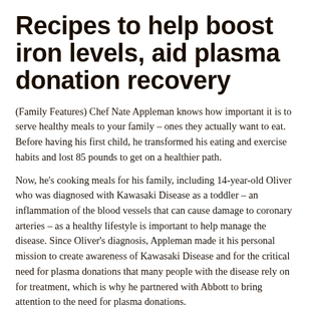Recipes to help boost iron levels, aid plasma donation recovery
(Family Features) Chef Nate Appleman knows how important it is to serve healthy meals to your family – ones they actually want to eat. Before having his first child, he transformed his eating and exercise habits and lost 85 pounds to get on a healthier path.
Now, he's cooking meals for his family, including 14-year-old Oliver who was diagnosed with Kawasaki Disease as a toddler – an inflammation of the blood vessels that can cause damage to coronary arteries – as a healthy lifestyle is important to help manage the disease. Since Oliver's diagnosis, Appleman made it his personal mission to create awareness of Kawasaki Disease and for the critical need for plasma donations that many people with the disease rely on for treatment, which is why he partnered with Abbott to bring attention to the need for plasma donations.
Plasma is a powerful part of your blood that supports essential